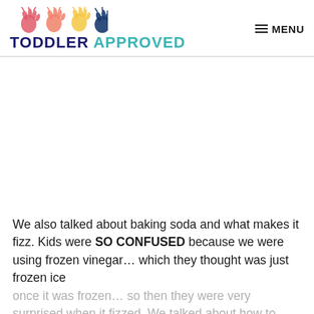TODDLER APPROVED — MENU
[Figure (other): Advertisement or image area (blank white space)]
We also talked about baking soda and what makes it fizz. Kids were SO CONFUSED because we were using frozen vinegar… which they thought was just frozen ice once it was frozen… so then they were very surprised when it fizzed. We talked about how to freeze things